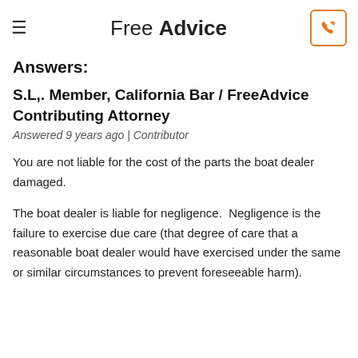Free Advice
Answers:
S.L,. Member, California Bar / FreeAdvice Contributing Attorney
Answered 9 years ago | Contributor
You are not liable for the cost of the parts the boat dealer damaged.
The boat dealer is liable for negligence.  Negligence is the failure to exercise due care (that degree of care that a reasonable boat dealer would have exercised under the same or similar circumstances to prevent foreseeable harm).